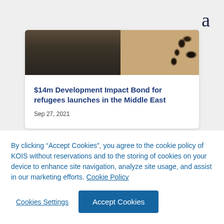a
[Figure (photo): Partial photo of people, dark clothing and leopard print fabric visible]
$14m Development Impact Bond for refugees launches in the Middle East
Sep 27, 2021
By clicking “Accept Cookies”, you agree to the cookie policy of KOIS without reservations and to the storing of cookies on your device to enhance site navigation, analyze site usage, and assist in our marketing efforts. Cookie Policy
Cookies Settings
Accept Cookies